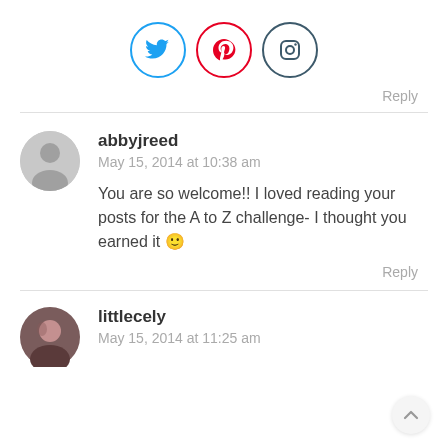[Figure (infographic): Three social media icons in circles: Twitter (blue bird), Pinterest (red P), Instagram (camera outline in dark teal)]
Reply
abbyjreed
May 15, 2014 at 10:38 am

You are so welcome!! I loved reading your posts for the A to Z challenge- I thought you earned it 🙂
Reply
littlecely
May 15, 2014 at 11:25 am